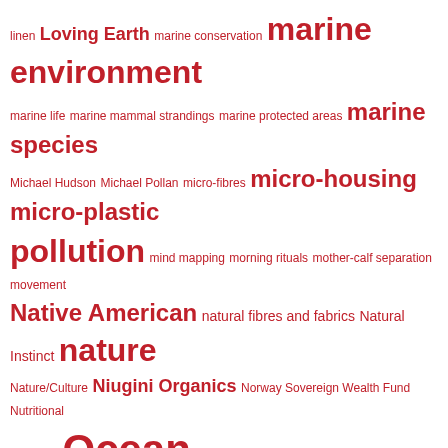[Figure (infographic): Word cloud with terms related to sustainability, environment, ocean, and lifestyle, all rendered in red on white background. Terms vary in font size indicating relative prominence.]